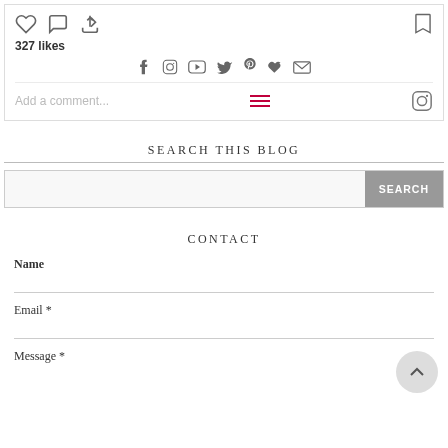[Figure (screenshot): Instagram post bottom bar with heart, comment, share icons on left; bookmark icon on right; 327 likes; social sharing icons row (Facebook, Instagram, YouTube, Twitter, Pinterest, heart, email); comment input field with hamburger menu and Instagram icon]
SEARCH THIS BLOG
[Figure (screenshot): Search input field with SEARCH button]
CONTACT
Name
Email *
Message *